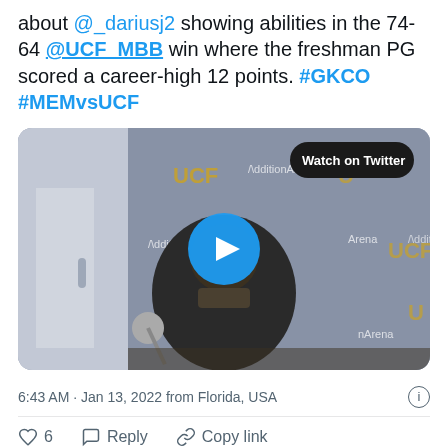about @_dariusj2 showing abilities in the 74-64 @UCF_MBB win where the freshman PG scored a career-high 12 points. #GKCO #MEMvsUCF
[Figure (screenshot): Video thumbnail showing a man in a UCF Knights jacket at a press conference table in front of a UCF Addition Arena branded backdrop. A play button is overlaid in the center and a 'Watch on Twitter' badge appears in the upper right.]
6:43 AM · Jan 13, 2022 from Florida, USA
♡ 6   Reply   Copy link
Explore what's happening on Twitter